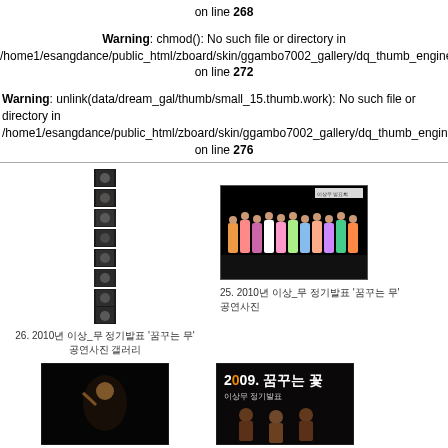on line 268
Warning: chmod(): No such file or directory in /home1/esangdance/public_html/zboard/skin/ggambo7002_gallery/dq_thumb_engine2.p on line 272
Warning: unlink(data/dream_gal/thumb/small_15.thumb.work): No such file or directory in /home1/esangdance/public_html/zboard/skin/ggambo7002_gallery/dq_thumb_engine2.p on line 276
[Figure (photo): Vertical strip of small black and white performance photos]
[Figure (photo): Horizontal photo of performers in colorful costumes on stage with dark background]
26. 2010년 이상_무 정기발표 '꿈꾸는 무' 공연사진 갤러리
25. 2010년 이상_무 정기발표 '꿈꾸는 무' 공연사진
[Figure (photo): Dark photo of a performer on stage]
[Figure (photo): Photo with text '2009. 꿈꾸는 꽃' and performers]